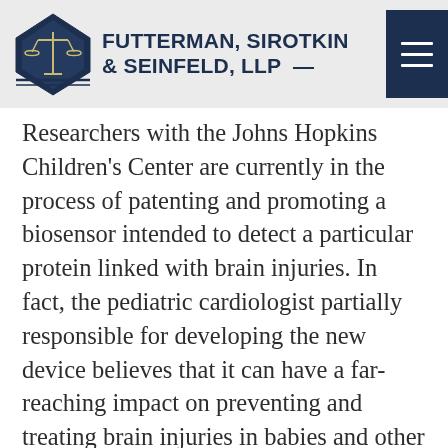FUTTERMAN, SIROTKIN & SEINFELD, LLP
Researchers with the Johns Hopkins Children's Center are currently in the process of patenting and promoting a biosensor intended to detect a particular protein linked with brain injuries. In fact, the pediatric cardiologist partially responsible for developing the new device believes that it can have a far-reaching impact on preventing and treating brain injuries in babies and other heart surgery patients.
It's estimated that close to half of pediatric patients show signs of brain injury after undergoing heart surgery. The surgery itself